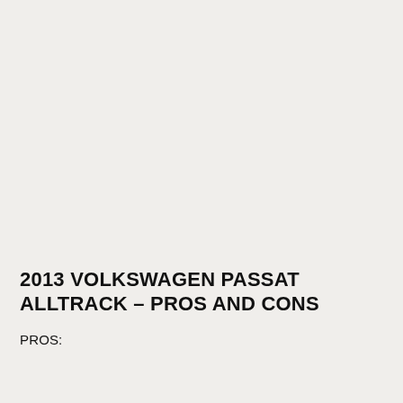2013 VOLKSWAGEN PASSAT ALLTRACK – PROS AND CONS
PROS: